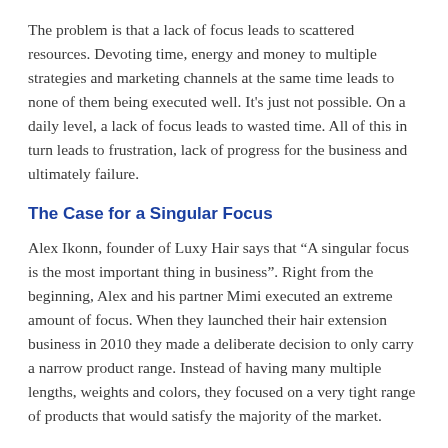The problem is that a lack of focus leads to scattered resources. Devoting time, energy and money to multiple strategies and marketing channels at the same time leads to none of them being executed well. It’s just not possible. On a daily level, a lack of focus leads to wasted time. All of this in turn leads to frustration, lack of progress for the business and ultimately failure.
The Case for a Singular Focus
Alex Ikonn, founder of Luxy Hair says that “A singular focus is the most important thing in business”. Right from the beginning, Alex and his partner Mimi executed an extreme amount of focus. When they launched their hair extension business in 2010 they made a deliberate decision to only carry a narrow product range. Instead of having many multiple lengths, weights and colors, they focused on a very tight range of products that would satisfy the majority of the market.